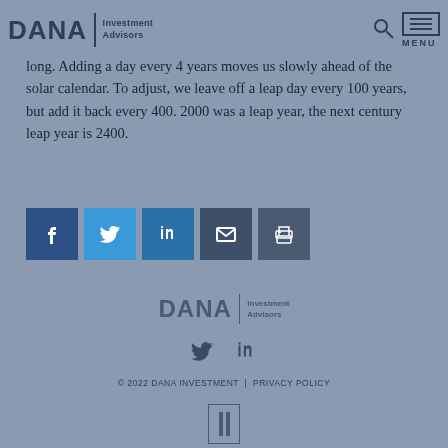DANA Investment Advisors
long. Adding a day every 4 years moves us slowly ahead of the solar calendar. To adjust, we leave off a leap day every 100 years, but add it back every 400. 2000 was a leap year, the next century leap year is 2400.
[Figure (other): Social sharing buttons: Facebook, Twitter, LinkedIn, Email, Print]
[Figure (logo): DANA Investment Advisors footer logo]
[Figure (other): Footer social icons: Twitter, LinkedIn]
© 2022 DANA INVESTMENT | PRIVACY POLICY